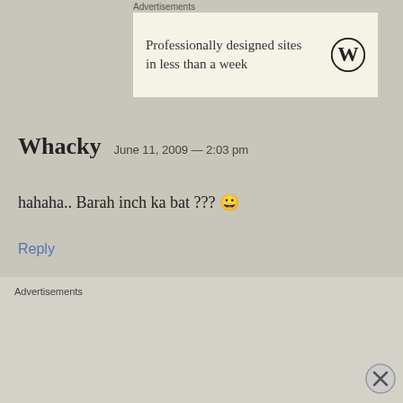Advertisements
[Figure (other): WordPress advertisement banner: 'Professionally designed sites in less than a week' with WordPress logo]
Whacky   June 11, 2009 — 2:03 pm
hahaha.. Barah inch ka bat ??? 😀
Reply
WTF   June 11, 2009 — 4:30 pm
Advertisements